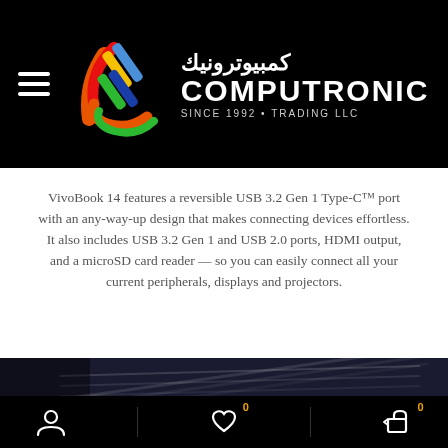[Figure (logo): Computronic Trading LLC logo with colorful C emblem and Arabic text كمبيوترونيك, white text COMPUTRONIC, SINCE 1992 • TRADING LLC on black background]
VivoBook 14 features a reversible USB 3.2 Gen 1 Type-C™ port with an any-way-up design that makes connecting devices effortless. It also includes USB 3.2 Gen 1 and USB 2.0 ports, HDMI output, and a microSD card reader — so you can easily connect all your current peripherals, displays and projectors.
[Figure (photo): Partial view of a dark laptop computer on dark background]
User icon | Wishlist 0 | Cart 0